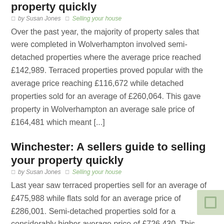property quickly
by Susan Jones   Selling your house
Over the past year, the majority of property sales that were completed in Wolverhampton involved semi-detached properties where the average price reached £142,989. Terraced properties proved popular with the average price reaching £116,672 while detached properties sold for an average of £260,064. This gave property in Wolverhampton an average sale price of £164,481 which meant [...]
Winchester: A sellers guide to selling your property quickly
by Susan Jones   Selling your house
Last year saw terraced properties sell for an average of £475,988 while flats sold for an average price of £286,001. Semi-detached properties sold for a considerably higher average price of £726,430. This gave property in Winchester an average price of £474,588 which was substantially higher than average as stated in Our the...